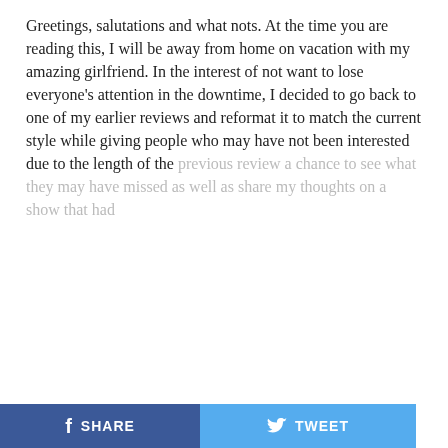Greetings, salutations and what nots. At the time you are reading this, I will be away from home on vacation with my amazing girlfriend. In the interest of not want to lose everyone’s attention in the downtime, I decided to go back to one of my earlier reviews and reformat it to match the current style while giving people who may have not been interested due to the length of the previous review a chance to see what they may have missed as well as share my thoughts on a show that had
CONTINUE READING
SPORTS
PODCASTS / 3 days ago
SHARE
TWEET